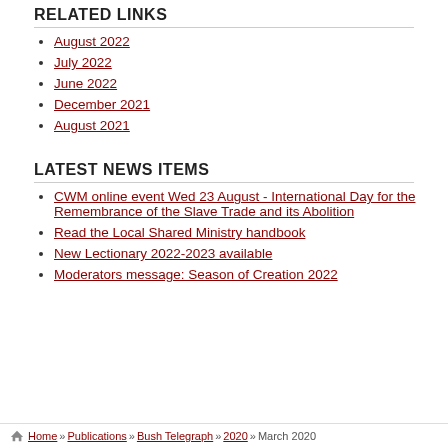RELATED LINKS
August 2022
July 2022
June 2022
December 2021
August 2021
LATEST NEWS ITEMS
CWM online event Wed 23 August - International Day for the Remembrance of the Slave Trade and its Abolition
Read the Local Shared Ministry handbook
New Lectionary 2022-2023 available
Moderators message: Season of Creation 2022
Home » Publications » Bush Telegraph » 2020 » March 2020